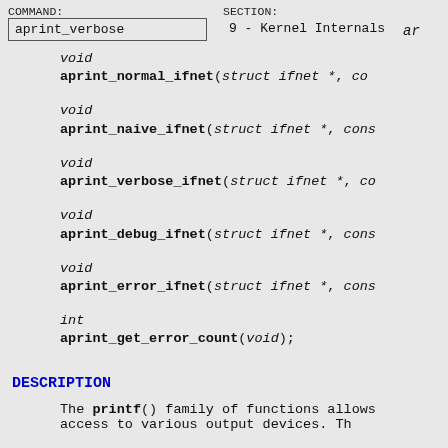COMMAND: aprint_verbose   SECTION: 9 - Kernel Internals   ar
void
aprint_normal_ifnet(struct ifnet *, co
void
aprint_naive_ifnet(struct ifnet *, cons
void
aprint_verbose_ifnet(struct ifnet *, co
void
aprint_debug_ifnet(struct ifnet *, cons
void
aprint_error_ifnet(struct ifnet *, cons
int
aprint_get_error_count(void);
DESCRIPTION
The printf() family of functions allows
access to various output devices. Th